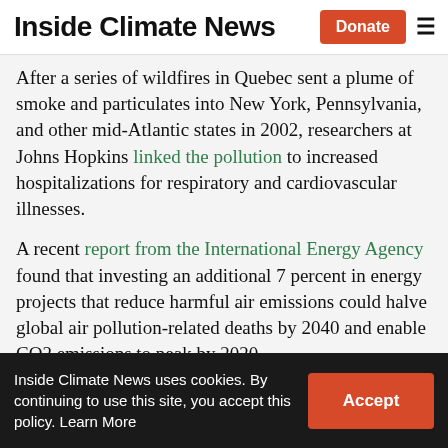Inside Climate News
After a series of wildfires in Quebec sent a plume of smoke and particulates into New York, Pennsylvania, and other mid-Atlantic states in 2002, researchers at Johns Hopkins linked the pollution to increased hospitalizations for respiratory and cardiovascular illnesses.
A recent report from the International Energy Agency found that investing an additional 7 percent in energy projects that reduce harmful air emissions could halve global air pollution-related deaths by 2040 and enable CO2 emissions to peak by 2020
Inside Climate News uses cookies. By continuing to use this site, you accept this policy. Learn More